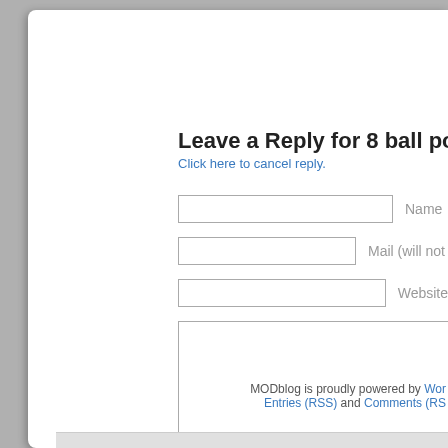Leave a Reply for 8 ball pool cheat engin...
Click here to cancel reply.
Name
Mail (will not be publish...)
Website
MODblog is proudly powered by Wor... Entries (RSS) and Comments (RS...